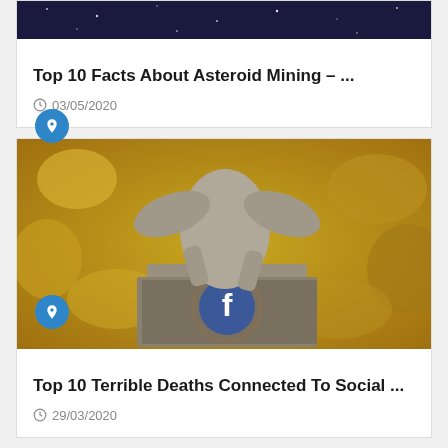[Figure (photo): Partial top image of asteroid mining article card, showing dark space background]
Top 10 Facts About Asteroid Mining – ...
03/05/2020
[Figure (photo): Stone angel statue grieving over a plinth with a Facebook logo carved on it, yellow foliage background]
Top 10 Terrible Deaths Connected To Social ...
29/03/2020